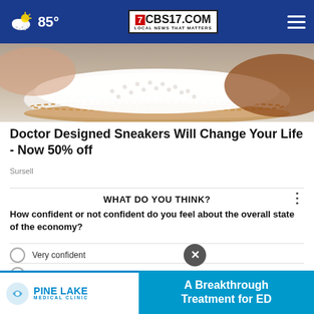CBS17.COM — LOCAL NEWS THAT MATTERS | 85°
[Figure (photo): Close-up photo of white perforated slip-on sneakers with brown/gold stitching detail on a light background]
Doctor Designed Sneakers Will Change Your Life - Now 50% off
Sursell
WHAT DO YOU THINK?
How confident or not confident do you feel about the overall state of the economy?
Very confident
Somewhat confident
Not that confident
[Figure (infographic): Pine Lake Medical Clinic advertisement banner: 'A Breakthrough Treatment for ED' with clinic logo on left and teal background on right]